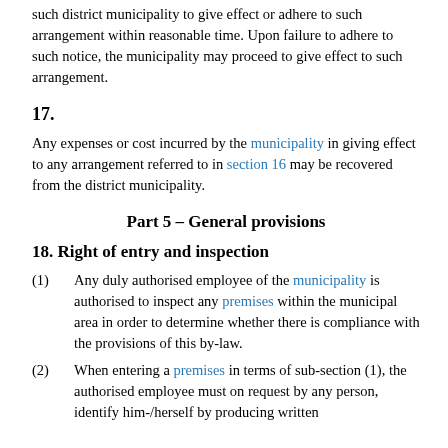such district municipality to give effect or adhere to such arrangement within reasonable time. Upon failure to adhere to such notice, the municipality may proceed to give effect to such arrangement.
17.
Any expenses or cost incurred by the municipality in giving effect to any arrangement referred to in section 16 may be recovered from the district municipality.
Part 5 – General provisions
18. Right of entry and inspection
(1) Any duly authorised employee of the municipality is authorised to inspect any premises within the municipal area in order to determine whether there is compliance with the provisions of this by-law.
(2) When entering a premises in terms of sub-section (1), the authorised employee must on request by any person, identify him-/herself by producing written